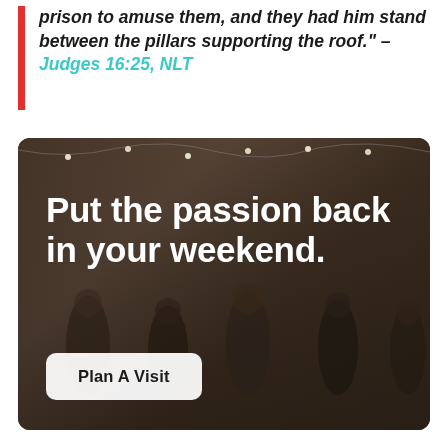prison to amuse them, and they had him stand between the pillars supporting the roof." – Judges 16:25, NLT
[Figure (photo): People gathered in a dimly lit lobby or common area with string lights. Large white bold text overlay reads 'Put the passion back in your weekend.' with a 'Plan A Visit' button below.]